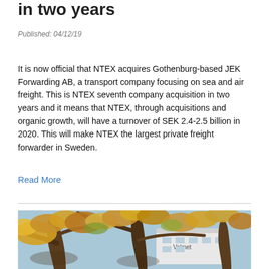in two years
Published: 04/12/19
It is now official that NTEX acquires Gothenburg-based JEK Forwarding AB, a transport company focusing on sea and air freight. This is NTEX seventh company acquisition in two years and it means that NTEX, through acquisitions and organic growth, will have a turnover of SEK 2.4-2.5 billion in 2020. This will make NTEX the largest private freight forwarder in Sweden.
Read More
[Figure (photo): Autumn trees with yellow and orange leaves in front of a Valmet building under a blue sky.]